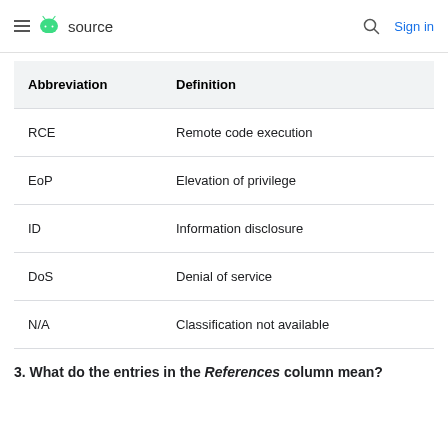source  Sign in
| Abbreviation | Definition |
| --- | --- |
| RCE | Remote code execution |
| EoP | Elevation of privilege |
| ID | Information disclosure |
| DoS | Denial of service |
| N/A | Classification not available |
3. What do the entries in the References column mean?